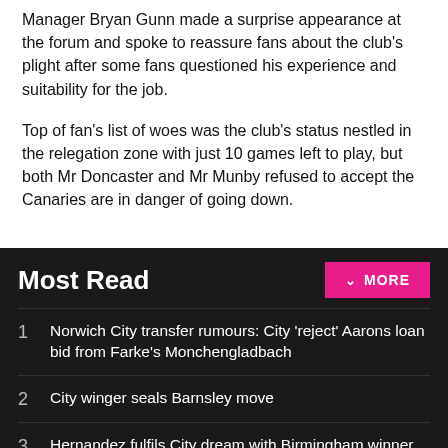Manager Bryan Gunn made a surprise appearance at the forum and spoke to reassure fans about the club's plight after some fans questioned his experience and suitability for the job.
Top of fan's list of woes was the club's status nestled in the relegation zone with just 10 games left to play, but both Mr Doncaster and Mr Munby refused to accept the Canaries are in danger of going down.
Most Read
1 Norwich City transfer rumours: City 'reject' Aarons loan bid from Farke's Monchengladbach
2 City winger seals Barnsley move
3 Hernandez fulfils City dream with Birmingham winner